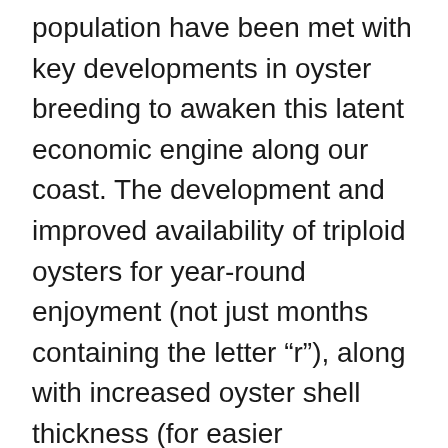population have been met with key developments in oyster breeding to awaken this latent economic engine along our coast. The development and improved availability of triploid oysters for year-round enjoyment (not just months containing the letter “r”), along with increased oyster shell thickness (for easier shucking), and a shorter maturation period, have made oysters more consistently marketable. These improvements have dramatically increased the viability of small-scale aquaculture operations.
Such developments were critical, Looney